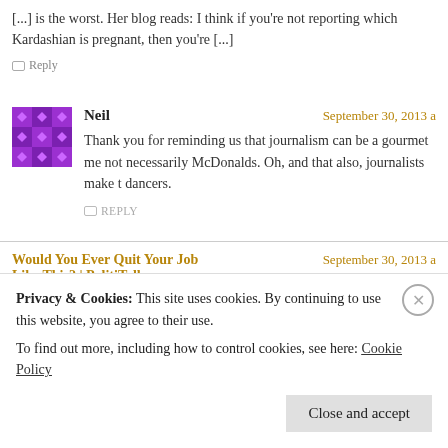[...] is the worst. Her blog reads: I think if you're not reporting which Kardashian is pregnant, then you're [...]
Reply
Neil
September 30, 2013
Thank you for reminding us that journalism can be a gourmet meal, not necessarily McDonalds. Oh, and that also, journalists make the best dancers.
REPLY
Would You Ever Quit Your Job Like This? | PolitiTalk
September 30, 2013
says:
Privacy & Cookies: This site uses cookies. By continuing to use this website, you agree to their use.
To find out more, including how to control cookies, see here: Cookie Policy
Close and accept